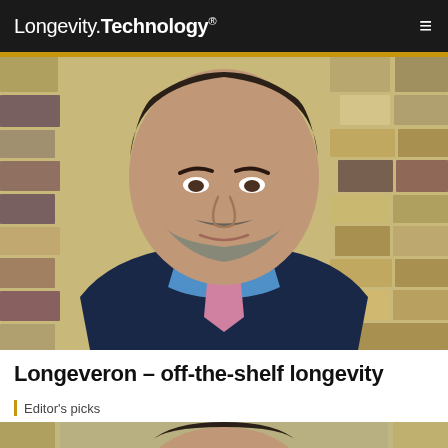Longevity.Technology®
[Figure (photo): Portrait photo of a middle-aged man with dark hair and a gray beard, wearing a navy suit with a light blue shirt and pink/purple patterned tie, standing in front of a stone wall background.]
Longeveron – off-the-shelf longevity
Editor's picks
[Figure (photo): Partial view of another person's portrait photo, showing top of head with dark hair against a stone/beige background, cropped at bottom of page.]